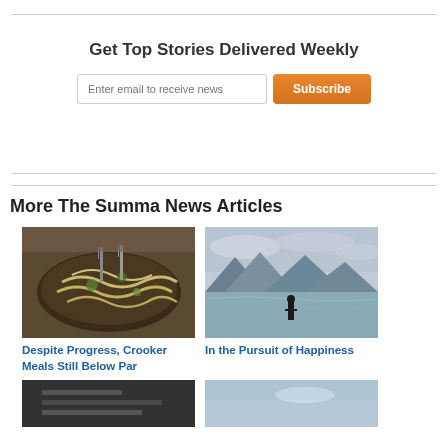Get Top Stories Delivered Weekly
Enter email to receive news
More The Summa News Articles
[Figure (photo): Photo of pasta dish with forks in a dark pan]
Despite Progress, Crooker Meals Still Below Par
[Figure (photo): Photo of a person standing at the edge of a lake with mountains in the background]
In the Pursuit of Happiness
[Figure (photo): Dark photo thumbnail, partial view]
[Figure (photo): Light blue photo thumbnail, partial view]